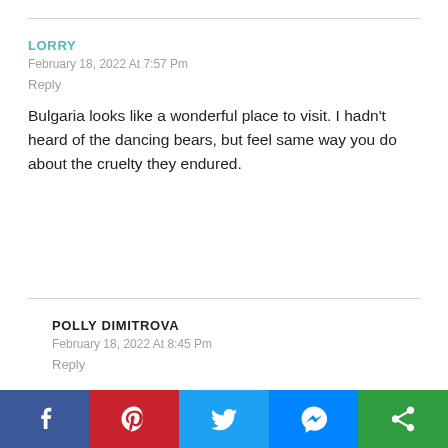LORRY
February 18, 2022 At 7:57 Pm
Reply
Bulgaria looks like a wonderful place to visit. I hadn't heard of the dancing bears, but feel same way you do about the cruelty they endured.
POLLY DIMITROVA
February 18, 2022 At 8:45 Pm
Reply
Yes, it is a bit unfortunate and made the experience a bit
[Figure (infographic): Social share bar with five buttons: Facebook (blue), Pinterest (red), Twitter (light blue), Messenger (blue), and a share icon (green)]